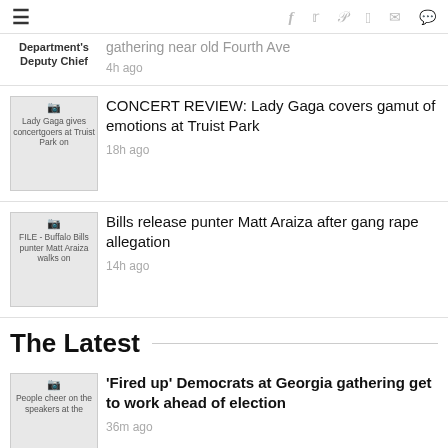hamburger menu, social icons: f, twitter, pinterest, reddit, mail, comment
Department's Deputy Chief
gathering near old Fourth Ave
4h ago
[Figure (photo): Lady Gaga gives concertgoers at Truist Park on]
CONCERT REVIEW: Lady Gaga covers gamut of emotions at Truist Park
18h ago
[Figure (photo): FILE - Buffalo Bills punter Matt Araiza walks on]
Bills release punter Matt Araiza after gang rape allegation
14h ago
The Latest
[Figure (photo): People cheer on the speakers at the]
'Fired up' Democrats at Georgia gathering get to work ahead of election
36m ago